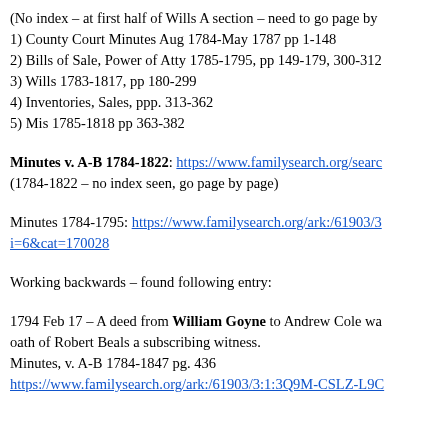(No index – at first half of Wills A section – need to go page by
1) County Court Minutes Aug 1784-May 1787 pp 1-148
2) Bills of Sale, Power of Atty 1785-1795, pp 149-179, 300-312
3) Wills 1783-1817, pp 180-299
4) Inventories, Sales, ppp. 313-362
5) Mis 1785-1818 pp 363-382
Minutes v. A-B 1784-1822: https://www.familysearch.org/search... (1784-1822 – no index seen, go page by page)
Minutes 1784-1795: https://www.familysearch.org/ark:/61903/3...i=6&cat=170028
Working backwards – found following entry:
1794 Feb 17 – A deed from William Goyne to Andrew Cole was... oath of Robert Beals a subscribing witness. Minutes, v. A-B 1784-1847 pg. 436
https://www.familysearch.org/ark:/61903/3:1:3Q9M-CSLZ-L9C...